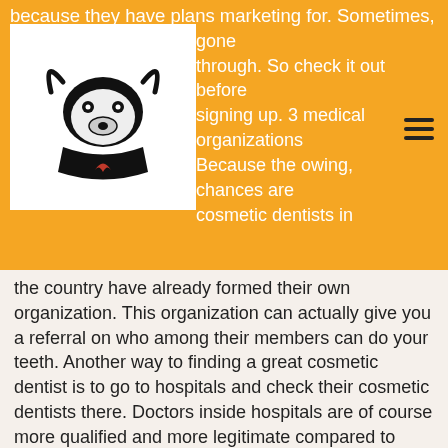because they have plans marketing for. Sometimes, celebrities haven't even gone through. So check it out before signing up. 3 medical organizations Because the owing, chances are cosmetic dentists in
[Figure (logo): Logo of an organization featuring a stylized bull or animal face with horns, text below reading 'VISUAL MINISTRY']
the country have already formed their own organization. This organization can actually give you a referral on who among their members can do your teeth. Another way to finding a great cosmetic dentist is to go to hospitals and check their cosmetic dentists there. Doctors inside hospitals are of course more qualified and more legitimate compared to those who have clinics outside. In looking for a cosmetic dentist, it is important you look into their reputation and their training background. Check their credentials and their license. Know just how many years are they in the industry and just how much experience they have with restorative work and cosmetic dentistry. As they say, it is better to be safe than sorry. In conclusion, buyers